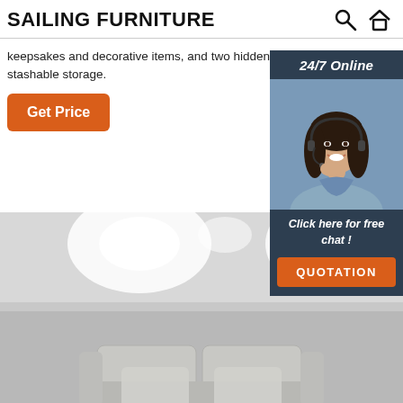SAILING FURNITURE
keepsakes and decorative items, and two hidden cupboards for stashable storage.
Get Price
[Figure (photo): Customer service representative (woman with headset) with 24/7 Online chat widget overlay including 'Click here for free chat!' and QUOTATION button]
[Figure (photo): Interior room photo showing a sofa with cushions against a grey wall with spotlights overhead]